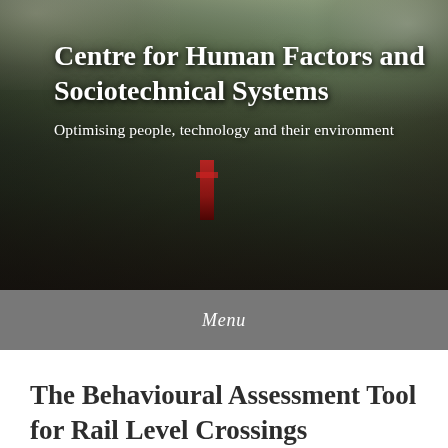[Figure (photo): Aerial photograph of a city with mountain in background, used as hero banner with overlaid text for the Centre for Human Factors and Sociotechnical Systems]
Centre for Human Factors and Sociotechnical Systems
Optimising people, technology and their environment
Menu
The Behavioural Assessment Tool for Rail Level Crossings
Collisions at rail level crossings (RLXs) represent a significant public...